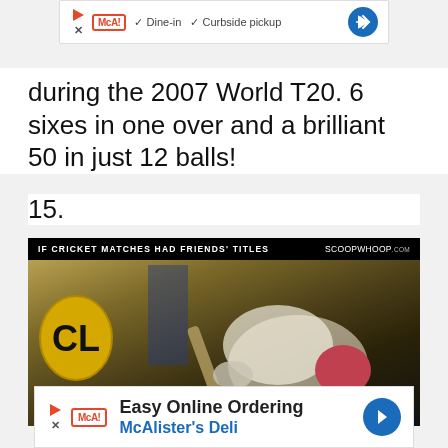[Figure (other): McAlister's Deli advertisement banner showing Dine-in and Curbside pickup options with navigation arrow]
during the 2007 World T20. 6 sixes in one over and a brilliant 50 in just 12 balls!
15.
[Figure (photo): Cricket player kneeling/bowing on the field with 'IF CRICKET MATCHES HAD FRIENDS' TITLES' overlay text and SCOOPWHOOP.COM branding. CL logo visible in background.]
[Figure (other): McAlister's Deli advertisement banner - Easy Online Ordering]